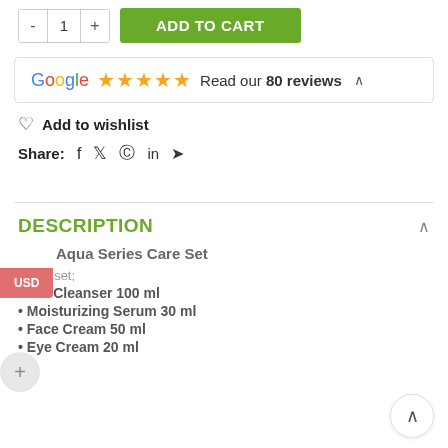[Figure (screenshot): Add to cart quantity selector with minus, 1, plus buttons and green ADD TO CART button]
[Figure (screenshot): Google reviews box showing 5 stars and 'Read our 80 reviews' text]
♡ Add to wishlist
Share: [facebook] [twitter] [pinterest] [linkedin] [telegram]
USD
DESCRIPTION
Aqua Series Care Set
In the set;
• Gel Cleanser 100 ml
• Moisturizing Serum 30 ml
• Face Cream 50 ml
• Eye Cream 20 ml